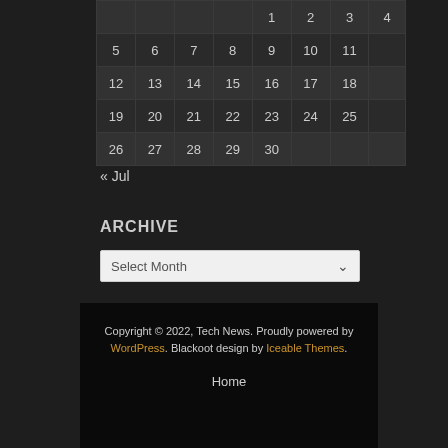|  |  |  |  | 1 | 2 | 3 | 4 |
| 5 | 6 | 7 | 8 | 9 | 10 | 11 |  |
| 12 | 13 | 14 | 15 | 16 | 17 | 18 |  |
| 19 | 20 | 21 | 22 | 23 | 24 | 25 |  |
| 26 | 27 | 28 | 29 | 30 |  |  |  |
« Jul
ARCHIVE
Select Month
Copyright © 2022, Tech News. Proudly powered by WordPress. Blackoot design by Iceable Themes.
Home